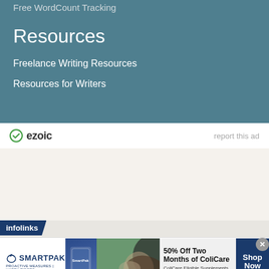Free WordCount Tracking
Resources
Freelance Writing Resources
Resources for Writers
[Figure (logo): Ezoic logo with green circle and checkmark icon, text 'ezoic']
report this ad
[Figure (infographic): SmartPak advertisement: 50% Off Two Months of ColiCare. ColiCare Eligible Supplements. CODE: COLICARE10. Shop Now button. Shows product packaging and horse with rider image.]
infolinks